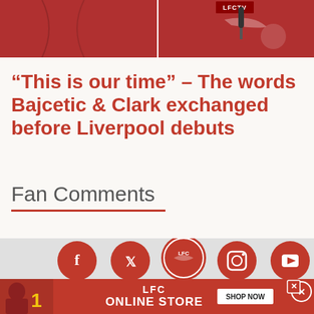[Figure (photo): Top banner image showing Liverpool FC related content — red jersey and LFCTV microphone visible, split image.]
“This is our time” – The words Bajcetic & Clark exchanged before Liverpool debuts
Fan Comments
[Figure (infographic): Social media icons row (Facebook, Twitter/X, LFC badge, Instagram, YouTube) on gray background]
[Figure (infographic): Advertisement banner: LFC Online Store with SHOP NOW button and close button, red background with person in red tracksuit]